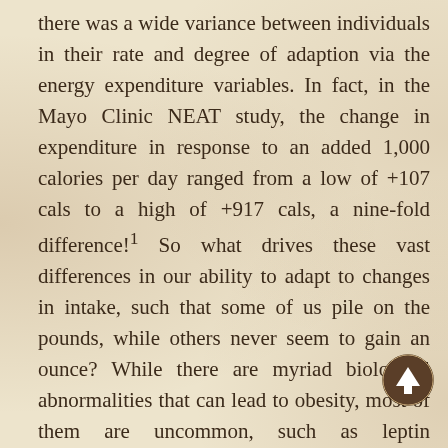there was a wide variance between individuals in their rate and degree of adaption via the energy expenditure variables. In fact, in the Mayo Clinic NEAT study, the change in expenditure in response to an added 1,000 calories per day ranged from a low of +107 cals to a high of +917 cals, a nine-fold difference!¹ So what drives these vast differences in our ability to adapt to changes in intake, such that some of us pile on the pounds, while others never seem to gain an ounce? While there are myriad biological abnormalities that can lead to obesity, most of them are uncommon, such as leptin deficiency, adrenal tumors, or genetic diseases such as Prader-Willi Syndrome. Most common obesities, on the other hand, can be directly linked to poor function or signaling of the sympathetic nervous system. The SNS is a primary regulator of many of the body's homeostatic mechanisms, not the least of which is energy balance. The effects of the SNS on energy balance are achieved through the binding of sympathetic neurotransmitters to...
[Figure (illustration): Circular scroll-up / back-to-top arrow button icon, dark brown circle with white upward-pointing arrow, positioned at bottom right of page]